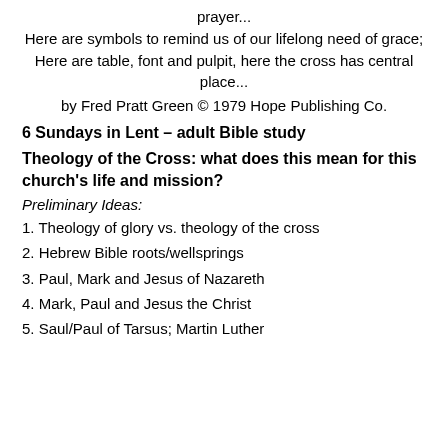prayer...
Here are symbols to remind us of our lifelong need of grace;
Here are table, font and pulpit, here the cross has central place...
by Fred Pratt Green © 1979 Hope Publishing Co.
6 Sundays in Lent – adult Bible study
Theology of the Cross: what does this mean for this church's life and mission?
Preliminary Ideas:
1. Theology of glory vs. theology of the cross
2. Hebrew Bible roots/wellsprings
3. Paul, Mark and Jesus of Nazareth
4. Mark, Paul and Jesus the Christ
5. Saul/Paul of Tarsus; Martin Luther